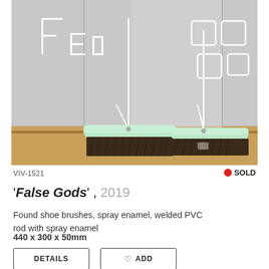[Figure (photo): Two shoe brushes with mint/light green tops and dark bristles, with white PVC wire rod sculptures behind them on a wooden surface against a wall with metal letter/shape wire art]
VIV-1521
● SOLD
'False Gods', 2019
Found shoe brushes, spray enamel, welded PVC rod with spray enamel
440 x 300 x 50mm
DETAILS
♡ ADD